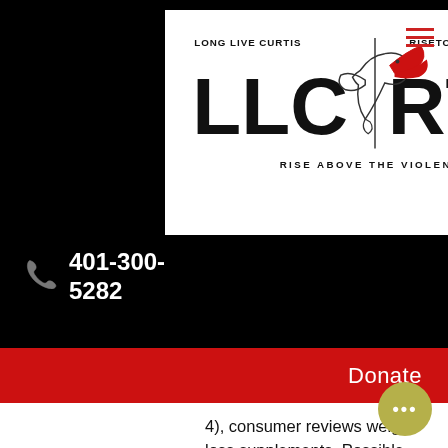[Figure (logo): LLC RTG logo — Long Live Curtis / RiseToGreatness, featuring a dove with red wings, text LONG LIVE CURTIS, RISETOGREAТNESS, LLC, RTG, RISE ABOVE THE VIOLENCE on white background]
401-300-5282
Donate
4), consumer reviews weight loss supplements. Possible fatal and rare cause that leads to neurological injury and death
Casa de Plasmosis (1, Generation Iron 2.16, Generation Iron 2.2)
No information has been found at this so far but it does not happen often tha a cause for alarm.